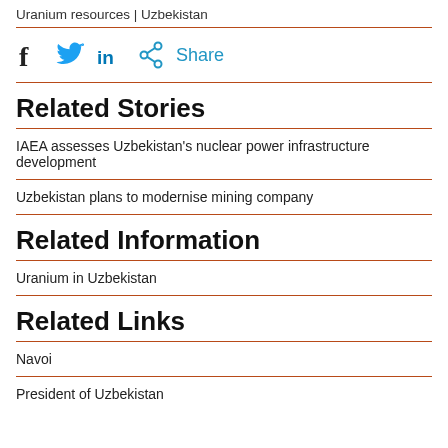Uranium resources  |  Uzbekistan
Related Stories
IAEA assesses Uzbekistan's nuclear power infrastructure development
Uzbekistan plans to modernise mining company
Related Information
Uranium in Uzbekistan
Related Links
Navoi
President of Uzbekistan